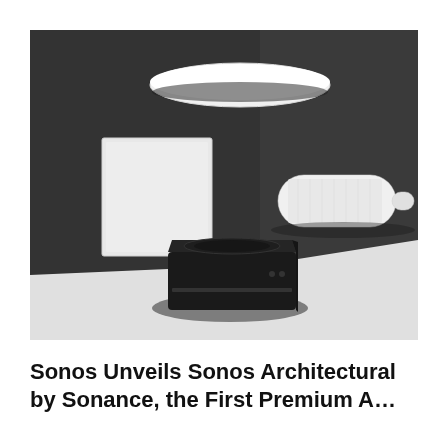[Figure (photo): Product photo showing Sonos Architectural by Sonance speakers and subwoofer in a dark minimalist room setting. A flat white ceiling speaker (in-ceiling style, oval/disc shape) is mounted on the ceiling. A rectangular white wall panel (in-wall speaker) is mounted on the left wall. A white pill-shaped wall-mount speaker is mounted on the right wall. A black square subwoofer sits on a white surface in the foreground center.]
Sonos Unveils Sonos Architectural by Sonance, the First Premium A…